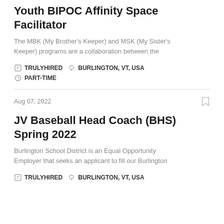Youth BIPOC Affinity Space Facilitator
The MBK (My Brother's Keeper) and MSK (My Sister's Keeper) programs are a collaboration between the
TRULYHIRED   BURLINGTON, VT, USA   PART-TIME
Aug 07, 2022
JV Baseball Head Coach (BHS) Spring 2022
Burlington School District is an Equal Opportunity Employer that seeks an applicant to fill our Burlington
TRULYHIRED   BURLINGTON, VT, USA